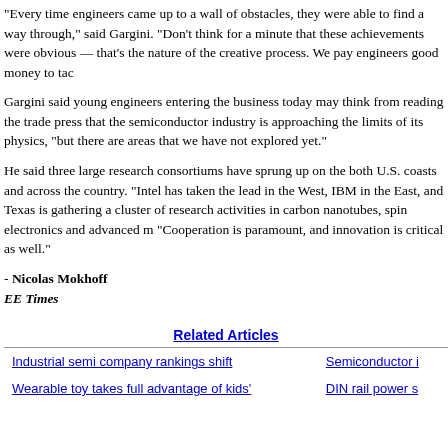"Every time engineers came up to a wall of obstacles, they were able to find a way through," said Gargini. "Don't think for a minute that these achievements were obvious — that's the nature of the creative process. We pay engineers good money to tackle these problems."
Gargini said young engineers entering the business today may think from reading the trade press that the semiconductor industry is approaching the limits of its physics, "but there are areas that we have not explored yet."
He said three large research consortiums have sprung up on the both U.S. coasts and across the country. "Intel has taken the lead in the West, IBM in the East, and Texas is gathering a cluster of research activities in carbon nanotubes, spin electronics and advanced microelectronics. 'Cooperation is paramount, and innovation is critical as well.'"
- Nicolas Mokhoff
EE Times
Related Articles
|  |  |
| --- | --- |
| Industrial semi company rankings shift | Semiconductor i |
| Wearable toy takes full advantage of kids' | DIN rail power s |